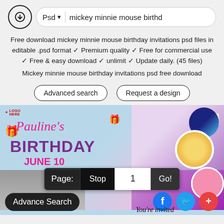[Figure (screenshot): Search bar with download icon, Psd dropdown, and search query 'mickey minnie mouse birthd']
Free download mickey minnie mouse birthday invitations psd files in editable .psd format ✓ Premium quality ✓ Free for commercial use ✓ Free & easy download ✓ unlimit ✓ Update daily. (45 files)
Mickey minnie mouse birthday invitations psd free download
Advanced search
Request a design
[Figure (screenshot): Birthday invitation card collage with Pauline's Birthday text on left and colorful party photo on right, with pagination bar showing Page: Stop 1 Go!, Advance Search button, social icons, and You're invited text]
Page:
Stop
1
Go!
Advance Search